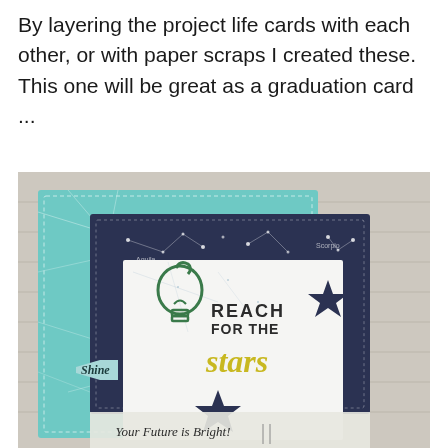By layering the project life cards with each other, or with paper scraps I created these. This one will be great as a graduation card ...
[Figure (photo): A handmade graduation card featuring layered project life cards. The card has a teal/mint background layer, a navy blue constellation-patterned layer, and a white center card with a green light bulb drawing and the text 'REACH FOR THE stars' in black and yellow-green script. A 'Shine' label tag is attached at the left side. Navy blue star embellishments are placed on the card. At the bottom partially visible text reads 'Your Future is Bright!']